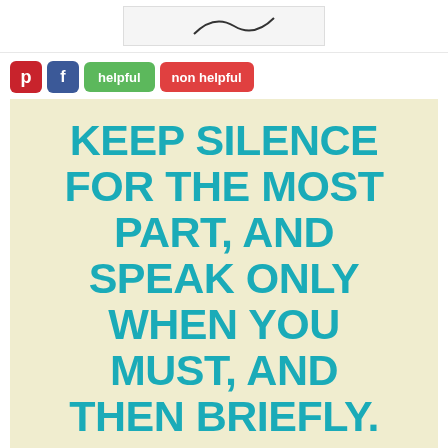[Figure (illustration): Partial view of a logo or signature on a white/light gray background at the top of the page]
[Figure (infographic): Social sharing buttons row: Pinterest (red P), Facebook (blue f), green 'helpful' button, red 'non helpful' button]
Keep silence for the most part, and speak only when you must, and then briefly.